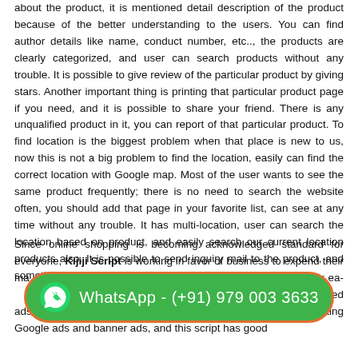about the product, it is mentioned detail description of the product because of the better understanding to the users. You can find author details like name, conduct number, etc.., the products are clearly categorized, and user can search products without any trouble. It is possible to give review of the particular product by giving stars. Another important thing is printing that particular product page if you need, and it is possible to share your friend. There is any unqualified product in it, you can report of that particular product. To find location is the biggest problem when that place is new to us, now this is not a big problem to find the location, easily can find the correct location with Google map. Most of the user wants to see the same product frequently; there is no need to search the website often, you should add that page in your favorite list, can see at any time without any trouble. It has multi-location, user can search the location based on product, and easily search our current location products also. It is possible to send inquiry mail to the product, and sometimes we can get reply also.
Since online shopping is becoming acknowledged standard for everyone, Kijiji Script is working in favor of business to expend their market because, they can buy easily by making some money. Classified ads support various categories, Craigslist Script is supporting Google ads and banner ads, and this script has good
[Figure (infographic): WhatsApp contact button overlay with green rounded rectangle border in orange, WhatsApp logo icon on left, text: WhatsApp - (+91) 979 003 3633]